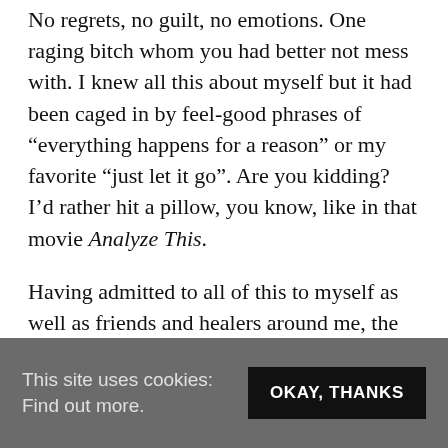No regrets, no guilt, no emotions. One raging bitch whom you had better not mess with. I knew all this about myself but it had been caged in by feel-good phrases of “everything happens for a reason” or my favorite “just let it go”. Are you kidding? I’d rather hit a pillow, you know, like in that movie Analyze This.
Having admitted to all of this to myself as well as friends and healers around me, the most amazing thing began to happen: the anger started to dissipate. I could feel it loosening its grip in places of concentration: my shoulders.
This site uses cookies: Find out more. OKAY, THANKS